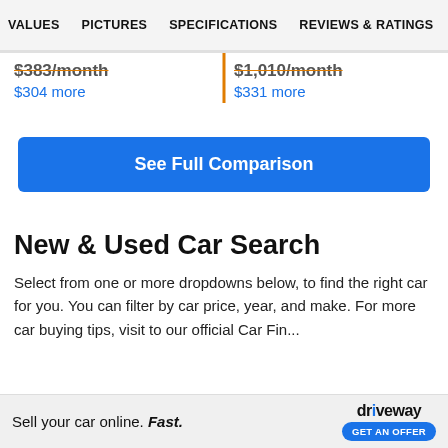VALUES   PICTURES   SPECIFICATIONS   REVIEWS & RATINGS
$383/month   $1,010/month
$304 more   $331 more
See Full Comparison
New & Used Car Search
Select from one or more dropdowns below, to find the right car for you. You can filter by car price, year, and make. For more car buying tips, visit to our official Car Finder...
Sell your car online. Fast.   driveway   GET AN OFFER